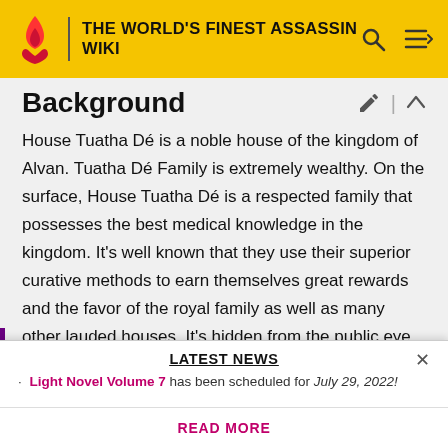THE WORLD'S FINEST ASSASSIN WIKI
Background
House Tuatha Dé is a noble house of the kingdom of Alvan. Tuatha Dé Family is extremely wealthy. On the surface, House Tuatha Dé is a respected family that possesses the best medical knowledge in the kingdom. It's well known that they use their superior curative methods to earn themselves great rewards and the favor of the royal family as well as many other lauded houses. It's hidden from the public eye, however, that the Tuatha
LATEST NEWS
• Light Novel Volume 7 has been scheduled for July 29, 2022!
READ MORE